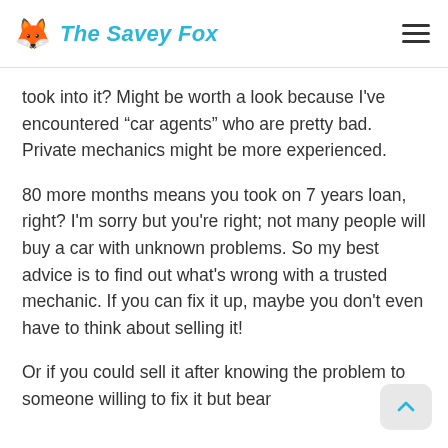The Savey Fox
took into it? Might be worth a look because I've encountered “car agents” who are pretty bad. Private mechanics might be more experienced.
80 more months means you took on 7 years loan, right? I'm sorry but you're right; not many people will buy a car with unknown problems. So my best advice is to find out what's wrong with a trusted mechanic. If you can fix it up, maybe you don't even have to think about selling it!
Or if you could sell it after knowing the problem to someone willing to fix it but bear